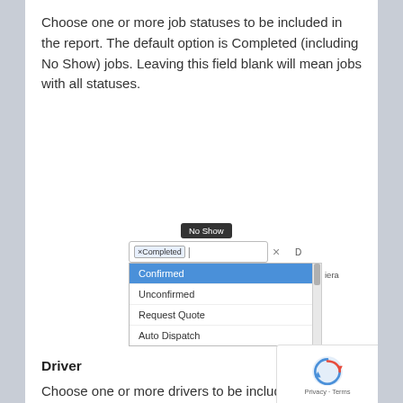Choose one or more job statuses to be included in the report. The default option is Completed (including No Show) jobs. Leaving this field blank will mean jobs with all statuses.
[Figure (screenshot): A UI dropdown showing a job status selector. A tooltip reads 'No Show'. An input field shows a chip labeled '×Completed' with an 'x' button. A dropdown list shows: Confirmed (highlighted in blue), Unconfirmed, Request Quote, Auto Dispatch. A scrollbar is visible on the right side of the dropdown.]
Driver
Choose one or more drivers to be included in the report.
Leaving this field blank will mean all drivers.